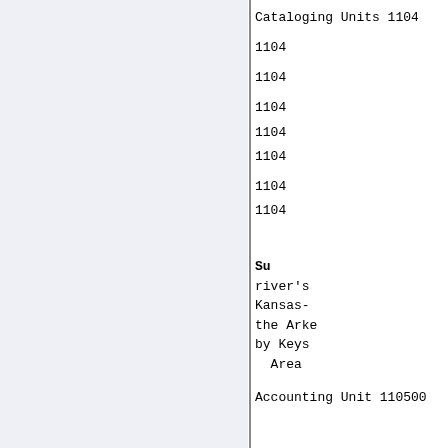Cataloging Units 1104
1104
1104
1104
1104
1104
1104
1104
Subunit: river's Kansas- the Arke by Keys Area
Accounting Unit 110500